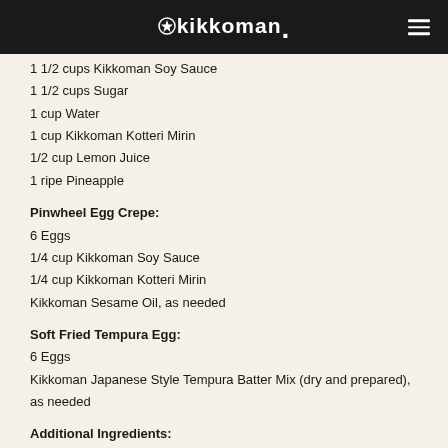kikkoman
1 1/2 cups Kikkoman Soy Sauce
1 1/2 cups Sugar
1 cup Water
1 cup Kikkoman Kotteri Mirin
1/2 cup Lemon Juice
1 ripe Pineapple
Pinwheel Egg Crepe:
6 Eggs
1/4 cup Kikkoman Soy Sauce
1/4 cup Kikkoman Kotteri Mirin
Kikkoman Sesame Oil, as needed
Soft Fried Tempura Egg:
6 Eggs
Kikkoman Japanese Style Tempura Batter Mix (dry and prepared), as needed
Additional Ingredients:
3 cups Onions, sliced
12 oz Ham, diced
Green Onions, sliced, as needed